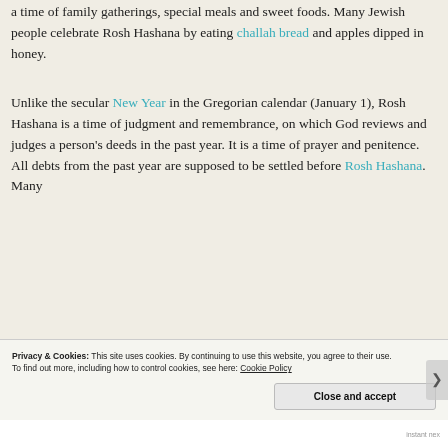a time of family gatherings, special meals and sweet foods. Many Jewish people celebrate Rosh Hashana by eating challah bread and apples dipped in honey.
Unlike the secular New Year in the Gregorian calendar (January 1), Rosh Hashana is a time of judgment and remembrance, on which God reviews and judges a person's deeds in the past year. It is a time of prayer and penitence. All debts from the past year are supposed to be settled before Rosh Hashana. Many
Privacy & Cookies: This site uses cookies. By continuing to use this website, you agree to their use.
To find out more, including how to control cookies, see here: Cookie Policy